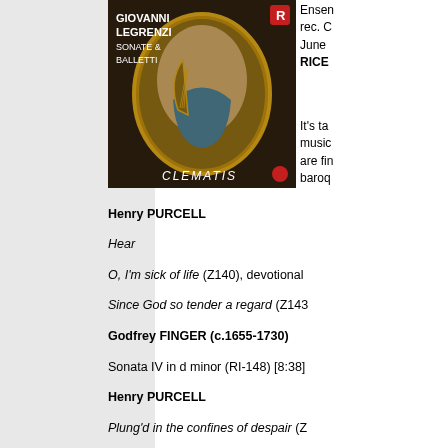[Figure (photo): Album cover for Giovanni Legrenzi Sonate & Balletti by Clematis ensemble, showing a baroque painting of a woman playing harp]
Ensemble rec. Completed June RICE
It's ta music are fin baroq
Henry PURCELL
Hear my prayer, O Lord (Z15), anthem;
O, I'm sick of life (Z140), devotional song;
Since God so tender a regard (Z143), devotional song
Godfrey FINGER (c.1655-1730)
Sonata IV in d minor (RI-148) [8:38]
Henry PURCELL
Plung'd in the confines of despair (Z...
Blessed is he that considereth the p...
The Aspiration: How long, great Go...
Godfrey FINGER
Division No. 8 in G [4:01]
Henry PURCELL
When on my sick bed I languish (Z1...
With sick and famish'd eyes (Z200),...
Godfrey FINGER
Division in g minor (RI-140) [3:59]
Henry PURCELL
I was glad (Z19), anthem [5:22]
Lord, not unto us (Z137), anthem [2...